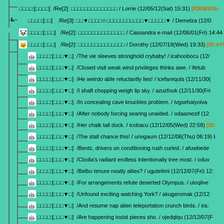[Figure (screenshot): Japanese BBS/forum thread list with tree structure, green background, showing reply posts with usernames, dates, and partial message subjects. Multiple rows of thread entries with icons and indentation.]